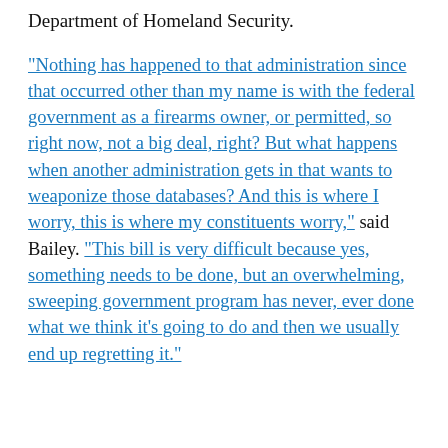Department of Homeland Security.
“Nothing has happened to that administration since that occurred other than my name is with the federal government as a firearms owner, or permitted, so right now, not a big deal, right? But what happens when another administration gets in that wants to weaponize those databases? And this is where I worry, this is where my constituents worry,” said Bailey. “This bill is very difficult because yes, something needs to be done, but an overwhelming, sweeping government program has never, ever done what we think it’s going to do and then we usually end up regretting it.”